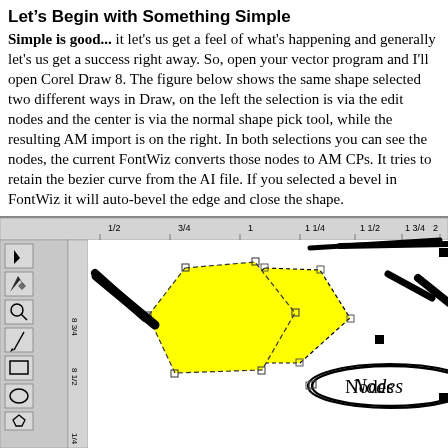Let's Begin with Something Simple
Simple is good... it let's us get a feel of what's happening and generally let's us get a success right away. So, open your vector program and I'll open Corel Draw 8. The figure below shows the same shape selected two different ways in Draw, on the left the selection is via the edit nodes and the center is via the normal shape pick tool, while the resulting AM import is on the right. In both selections you can see the nodes, the current FontWiz converts those nodes to AM CPs. It tries to retain the bezier curve from the AI file. If you selected a bevel in FontWiz it will auto-bevel the edge and close the shape.
[Figure (screenshot): Screenshot of Corel Draw 8 showing two yellow pentagon shapes selected in different ways, with node handles visible, and a 'Nodes' label callout ellipse. The left pentagon shows edit node selection with small square handles, the center shows normal pick tool selection, and the right shows the AM import result. A toolbar is visible on the left and a ruler at the top.]